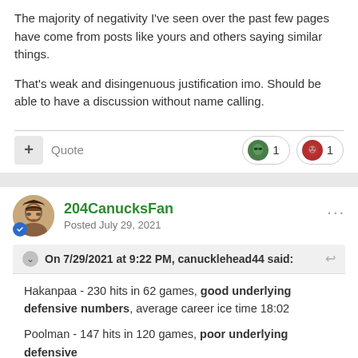The majority of negativity I've seen over the past few pages have come from posts like yours and others saying similar things.
That's weak and disingenuous justification imo. Should be able to have a discussion without name calling.
204CanucksFan
Posted July 29, 2021
On 7/29/2021 at 9:22 PM, canucklehead44 said:
Hakanpaa - 230 hits in 62 games, good underlying defensive numbers, average career ice time 18:02

Poolman - 147 hits in 120 games, poor underlying defensive